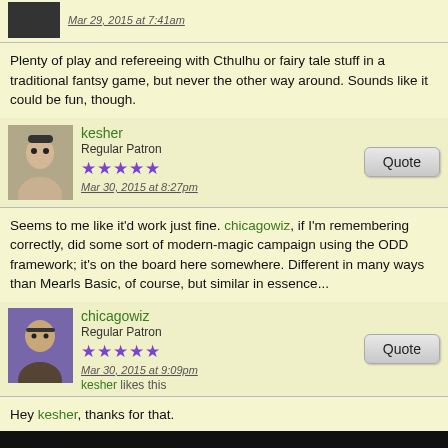Mar 29, 2015 at 7:41am
Plenty of play and refereeing with Cthulhu or fairy tale stuff in a traditional fantsy game, but never the other way around. Sounds like it could be fun, though.
kesher
Regular Patron
Mar 30, 2015 at 8:27pm
Seems to me like it'd work just fine. chicagowiz, if I'm remembering correctly, did some sort of modern-magic campaign using the ODD framework; it's on the board here somewhere. Different in many ways than Mearls Basic, of course, but similar in essence...
chicagowiz
Regular Patron
Mar 30, 2015 at 9:09pm
kesher likes this
Hey kesher, thanks for that.